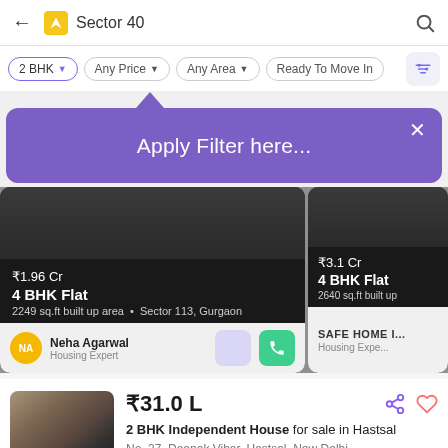Sector 40
2 BHK
Any Price
Any Area
Ready To Move In
[Figure (screenshot): Apply Filter popup tooltip with purple background]
Apply Filter here...
₹1.96 Cr
4 BHK Flat
2249 sq.ft built up area • Sector 113, Gurgaon
Neha Agarwal
Housing Expert
₹3.1 Cr
4 BHK Flat
2640 sq.ft built up
SAFE HOME I...
Housing Expe...
₹31.0 L
2 BHK Independent House for sale in Hastsal
No. 27, Deepak Vihar, Hastsal, New Delhi